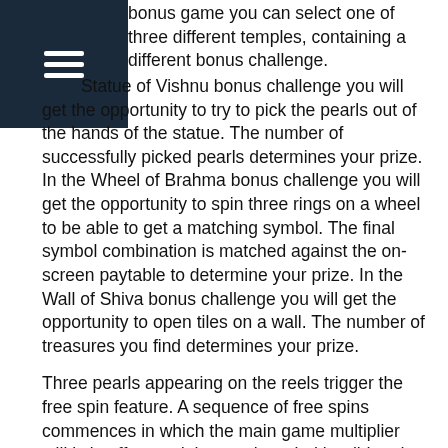[Figure (other): Dark navy blue square with white hamburger menu icon (three horizontal lines)]
bonus game you can select one of three different temples, containing a different bonus challenge. Statue of Vishnu bonus challenge you will get the opportunity to try to pick the pearls out of the hands of the statue. The number of successfully picked pearls determines your prize. In the Wheel of Brahma bonus challenge you will get the opportunity to spin three rings on a wheel to be able to get a matching symbol. The final symbol combination is matched against the on-screen paytable to determine your prize. In the Wall of Shiva bonus challenge you will get the opportunity to open tiles on a wall. The number of treasures you find determines your prize.
Three pearls appearing on the reels trigger the free spin feature. A sequence of free spins commences in which the main game multiplier still is in effect and the pearl symbol is wild and substitutes for all other active symbols. If you get a pearl symbol anywhere on the reels during free spins, you collect it. Collect 5 pearl symbols to receive additional free spins as well